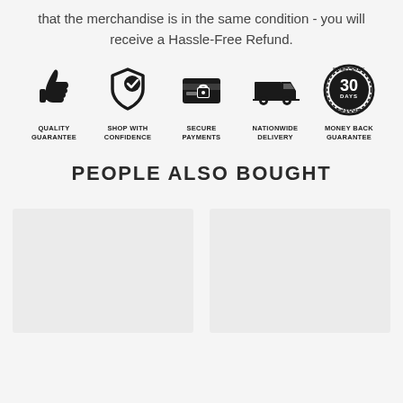that the merchandise is in the same condition - you will receive a Hassle-Free Refund.
[Figure (infographic): Five trust badge icons in a row: Quality Guarantee (thumbs up), Shop With Confidence (shield with checkmark), Secure Payments (credit card with lock), Nationwide Delivery (delivery truck), Money Back Guarantee (30 days badge). Each icon has a label beneath it.]
PEOPLE ALSO BOUGHT
[Figure (other): Two empty light gray product card placeholders side by side.]